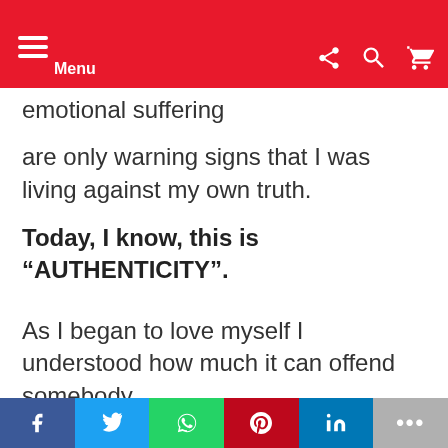Menu
emotional suffering
are only warning signs that I was living against my own truth.
Today, I know, this is “AUTHENTICITY”.
As I began to love myself I understood how much it can offend somebody
As I try to force my desires on this person, even though I knew the time
f  Twitter  WhatsApp  Pinterest  in  ...